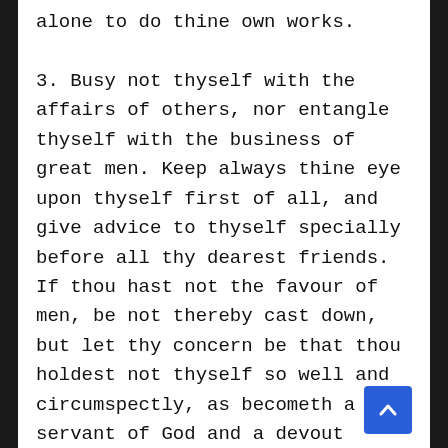alone to do thine own works.

3. Busy not thyself with the affairs of others, nor entangle thyself with the business of great men. Keep always thine eye upon thyself first of all, and give advice to thyself specially before all thy dearest friends. If thou hast not the favour of men, be not thereby cast down, but let thy concern be that thou holdest not thyself so well and circumspectly, as becometh a servant of God and a devout monk. It is often better and safer for a man not to have many comforts in this life, especially those which concern the